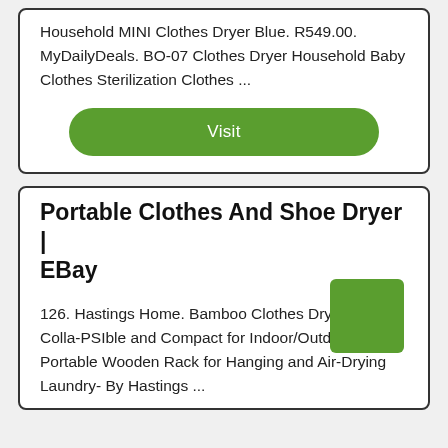Household MINI Clothes Dryer Blue. R549.00. MyDailyDeals. BO-07 Clothes Dryer Household Baby Clothes Sterilization Clothes ...
Visit
Portable Clothes And Shoe Dryer | EBay
126. Hastings Home. Bamboo Clothes Drying Rack- Colla-PSIble and Compact for Indoor/Outdoor Use-Portable Wooden Rack for Hanging and Air-Drying Laundry- By Hastings ...